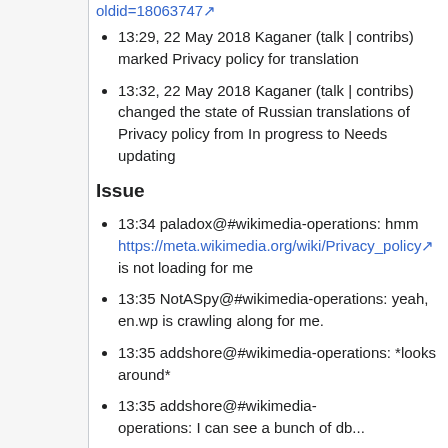oldid=18063747 (link)
13:29, 22 May 2018 Kaganer (talk | contribs) marked Privacy policy for translation
13:32, 22 May 2018 Kaganer (talk | contribs) changed the state of Russian translations of Privacy policy from In progress to Needs updating
Issue
13:34 paladox@#wikimedia-operations: hmm https://meta.wikimedia.org/wiki/Privacy_policy is not loading for me
13:35 NotASpy@#wikimedia-operations: yeah, en.wp is crawling along for me.
13:35 addshore@#wikimedia-operations: *looks around*
13:35 addshore@#wikimedia-operations: I can see a bunch of db...